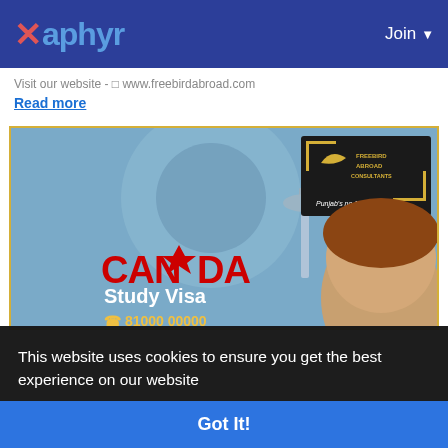Xaphyr  Join
Visit our website - □ www.freebirdabroad.com
Read more
[Figure (photo): Canada Study Visa advertisement image showing CN Tower, Freebird Abroad Consultants logo, and a young woman. Text reads: CANADA Study Visa. Punjab's no.1 Consultant.]
This website uses cookies to ensure you get the best experience on our website
Learn More
Got It!